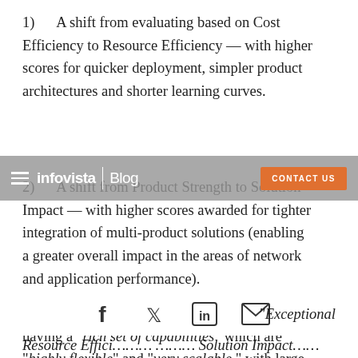1)    A shift from evaluating based on Cost Efficiency to Resource Efficiency — with higher scores for quicker deployment, simpler product architectures and shorter learning curves.
2)    A shift from Product Strength to Solution Impact — with higher scores awarded for tighter integration of multi-product solutions (enabling a greater overall impact in the areas of network and application performance).
With this in mind, EMA featured Infovista as having a "rich set of capabilities" which are "highly flexible" and "very scalable," with large enterprises and of particular strength with CSPs.  Furthermore, Infovista was ranked as the only "  "Exceptional Resource Efficiency and Solution Impact.